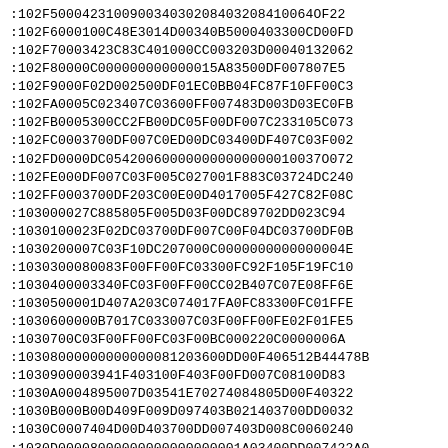:102F500042310090034030208403208410064OF22
:102F6000100C48E3014D00340B5000403300CD00FD
:102F70003423C83C401000CC003203D00040132062
:102F80000C000000000000015A83500DF007807E5
:102F9000F02D002500DF01EC0BB04FC87F10FF00C3
:102FA0005C023407C03600FF007483D003D03EC0FB
:102FB0005300CC2FB00DC05F00DF007C233105C073
:102FC0003700DF007C0ED00DC03400DF407C03F002
:102FD0000DC054200600000000000000010037O072
:102FE000DF007C03F005C027001F883C03724DC240
:102FF0003700DF203C00E00D4017005F427C82F08C
:103000027C885805F005D03F00DC89702DD023C94
:1030100023F02DC03700DF007C00F04DC03700DF0B
:1030200007C03F10DC207000C0000000000000004E
:1030300080083F00FF00FC03300FC92F105F19FC10
:1030400003340FC03F00FF00CC02B407C07E08FF6E
:1030500001D407A203C074017FA0FC83300FC01FFE
:1030600000B7017C033007C03F00FF00FE02F01FE5
:1030700C03F00FF00FC03F00BC000220C0000006A
:10308000000000000081203600DD00F406512B44478B
:1030900003941F403100F403F00FD007C08100D83
:1030A0004895007D03541E70274084805D00F40322
:1030B000B00D409F009D097403B021403700DD0032
:1030C0007404D00D403700DD007403D008C0060240
:1030D00008000000000000000001A03400DD007422A0